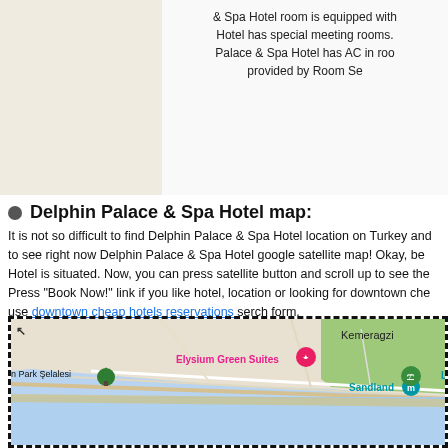& Spa Hotel room is equipped with ... Hotel has special meeting rooms. Palace & Spa Hotel has AC in room provided by Room Se...
Delphin Palace & Spa Hotel map:
It is not so difficult to find Delphin Palace & Spa Hotel location on Turkey and to see right now Delphin Palace & Spa Hotel google satellite map! Okay, be Hotel is situated. Now, you can press satellite button and scroll up to see the Press "Book Now!" link if you like hotel, location or looking for downtown che use downtown cheap hotels reservations serch form.
[Figure (map): Google map showing Lara/Antalya coastal area with markers for Elysium Green Suites, Sandland, Lara Plaji, En Park Selalesi, and Kemeragzi label]